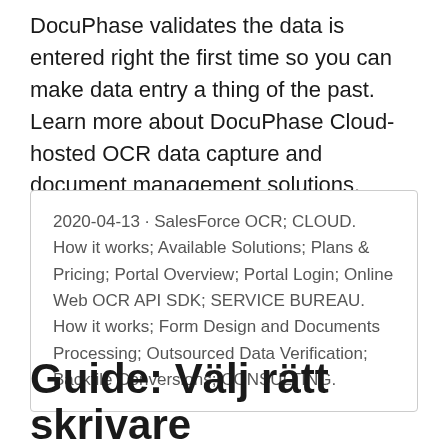DocuPhase validates the data is entered right the first time so you can make data entry a thing of the past. Learn more about DocuPhase Cloud-hosted OCR data capture and document management solutions.
2020-04-13 · SalesForce OCR; CLOUD. How it works; Available Solutions; Plans & Pricing; Portal Overview; Portal Login; Online Web OCR API SDK; SERVICE BUREAU. How it works; Form Design and Documents Processing; Outsourced Data Verification; Backfile Conversions; CONSULTING.
Guide: Välj rätt skrivare